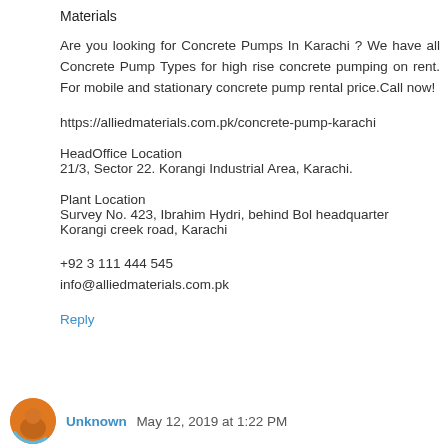Materials
Are you looking for Concrete Pumps In Karachi ? We have all Concrete Pump Types for high rise concrete pumping on rent. For mobile and stationary concrete pump rental price.Call now!
https://alliedmaterials.com.pk/concrete-pump-karachi
HeadOffice Location
21/3, Sector 22. Korangi Industrial Area, Karachi.
Plant Location
Survey No. 423, Ibrahim Hydri, behind Bol headquarter
Korangi creek road, Karachi
+92 3 111 444 545
info@alliedmaterials.com.pk
Reply
Unknown  May 12, 2019 at 1:22 PM